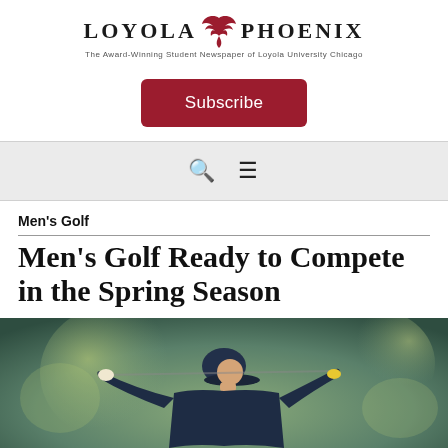LOYOLA PHOENIX — The Award-Winning Student Newspaper of Loyola University Chicago
Subscribe
Men's Golf
Men's Golf Ready to Compete in the Spring Season
[Figure (photo): Golfer in dark cap and jacket mid-swing, viewed from below against a blurred green background]